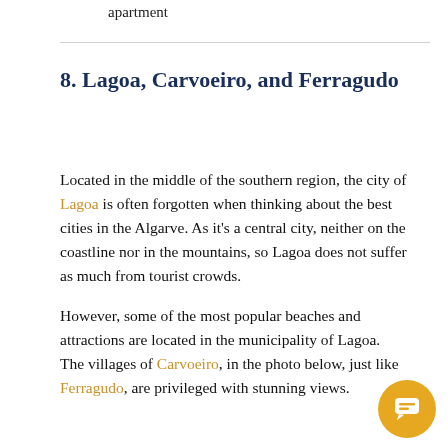apartment
8. Lagoa, Carvoeiro, and Ferragudo
Located in the middle of the southern region, the city of Lagoa is often forgotten when thinking about the best cities in the Algarve. As it's a central city, neither on the coastline nor in the mountains, so Lagoa does not suffer as much from tourist crowds.
However, some of the most popular beaches and attractions are located in the municipality of Lagoa. The villages of Carvoeiro, in the photo below, just like Ferragudo, are privileged with stunning views.
[Figure (other): Chat button widget (circular orange button with chat icon)]